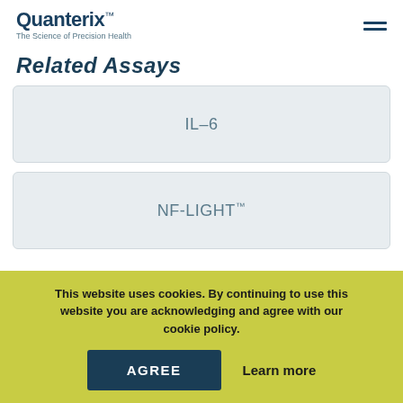Quanterix™ The Science of Precision Health
Related Assays
IL-6
NF-LIGHT™
This website uses cookies. By continuing to use this website you are acknowledging and agree with our cookie policy.
AGREE
Learn more